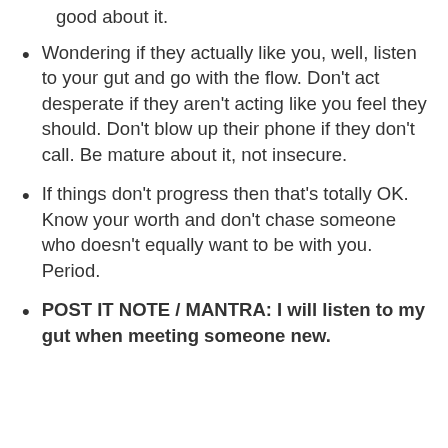good about it.
Wondering if they actually like you, well, listen to your gut and go with the flow. Don't act desperate if they aren't acting like you feel they should. Don't blow up their phone if they don't call. Be mature about it, not insecure.
If things don't progress then that's totally OK. Know your worth and don't chase someone who doesn't equally want to be with you. Period.
POST IT NOTE / MANTRA: I will listen to my gut when meeting someone new.